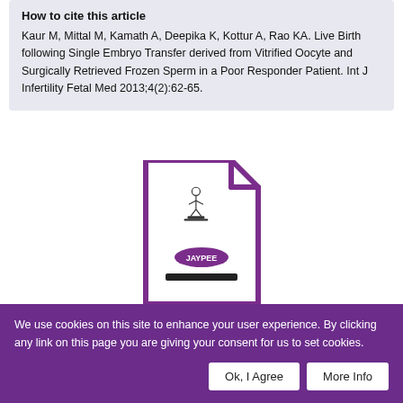How to cite this article
Kaur M, Mittal M, Kamath A, Deepika K, Kottur A, Rao KA. Live Birth following Single Embryo Transfer derived from Vitrified Oocyte and Surgically Retrieved Frozen Sperm in a Poor Responder Patient. Int J Infertility Fetal Med 2013;4(2):62-65.
[Figure (logo): Jaypee publisher document icon — a stylized document/file outline in purple with a folded corner, containing a small Jaypee logo illustration and a label 'JAYPEE' in an oval, with a black bar below]
We use cookies on this site to enhance your user experience. By clicking any link on this page you are giving your consent for us to set cookies.